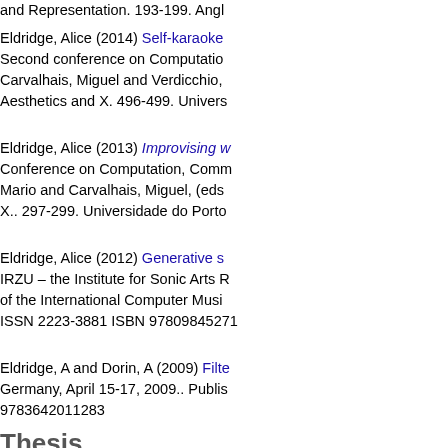and Representation. 193-199. Angl...
Eldridge, Alice (2014) Self-karaoke... Second conference on Computatio... Carvalhais, Miguel and Verdicchio,... Aesthetics and X. 496-499. Univers...
Eldridge, Alice (2013) Improvising w... Conference on Computation, Comm... Mario and Carvalhais, Miguel, (eds... X.. 297-299. Universidade do Porto...
Eldridge, Alice (2012) Generative s... IRZU – the Institute for Sonic Arts R... of the International Computer Musi... ISSN 2223-3881 ISBN 97809845271
Eldridge, A and Dorin, A (2009) Filte... Germany, April 15-17, 2009.. Publis... 9783642011283
Thesis
Eldridge, Alice (2008) Collaborating... interactive music. Doctoral thesis (D...